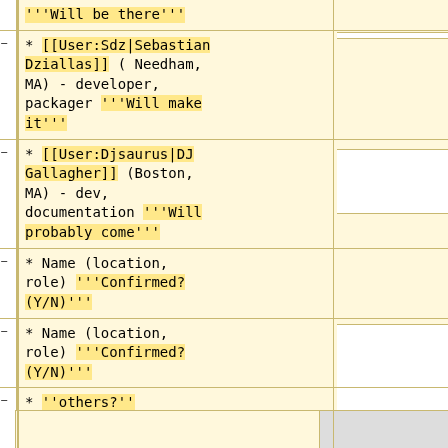'''Will be there'''
* [[User:Sdz|Sebastian Dziallas]] ( Needham, MA) - developer, packager '''Will make it'''
* [[User:Djsaurus|DJ Gallagher]] (Boston, MA) - dev, documentation '''Will probably come'''
* Name (location, role) '''Confirmed? (Y/N)'''
* Name (location, role) '''Confirmed? (Y/N)'''
* ''others?''